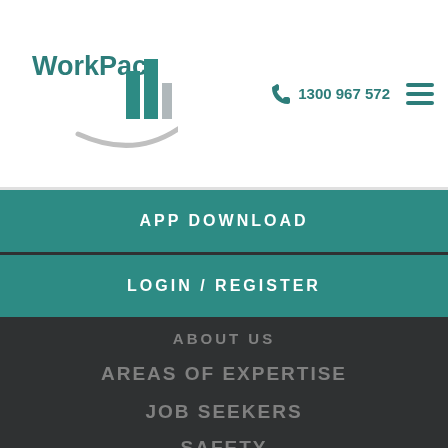[Figure (logo): WorkPac logo with teal text and building/bar chart icon with swoosh]
1300 967 572
[Figure (illustration): Hamburger menu icon (three teal horizontal lines)]
APP DOWNLOAD
LOGIN / REGISTER
ABOUT US
AREAS OF EXPERTISE
JOB SEEKERS
SAFETY